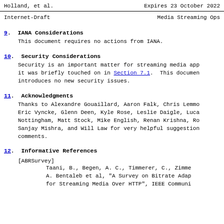Holland, et al.    Expires 23 October 2022
Internet-Draft    Media Streaming Ops
9.  IANA Considerations
This document requires no actions from IANA.
10.  Security Considerations
Security is an important matter for streaming media app it was briefly touched on in Section 7.1.  This documen introduces no new security issues.
11.  Acknowledgments
Thanks to Alexandre Gouaillard, Aaron Falk, Chris Lemmo Eric Vyncke, Glenn Deen, Kyle Rose, Leslie Daigle, Luca Nottingham, Matt Stock, Mike English, Renan Krishna, Ro Sanjay Mishra, and Will Law for very helpful suggestion comments.
12.  Informative References
[ABRSurvey]
Taani, B., Begen, A. C., Timmerer, C., Zimme A. Bentaleb et al, "A Survey on Bitrate Adap for Streaming Media Over HTTP", IEEE Communi